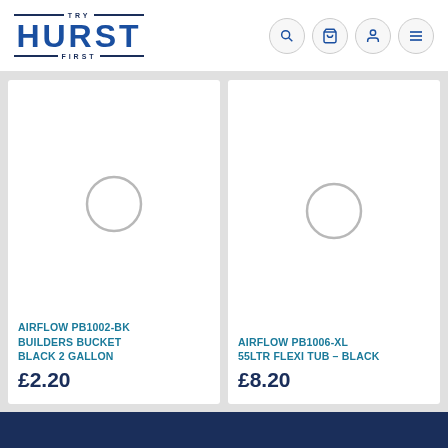[Figure (logo): Try Hurst First logo — dark blue brand name HURST in large bold letters, with TRY above and FIRST below, flanked by horizontal lines]
[Figure (screenshot): Navigation icons: search magnifier, shopping cart, user account, hamburger menu — each in a circular bordered button]
[Figure (photo): Product image placeholder with loading spinner circle for AIRFLOW PB1002-BK Builders Bucket Black 2 Gallon]
AIRFLOW PB1002-BK BUILDERS BUCKET BLACK 2 GALLON
£2.20
[Figure (photo): Product image placeholder with loading spinner circle for AIRFLOW PB1006-XL 55LTR FLEXI TUB – BLACK]
AIRFLOW PB1006-XL 55LTR FLEXI TUB – BLACK
£8.20